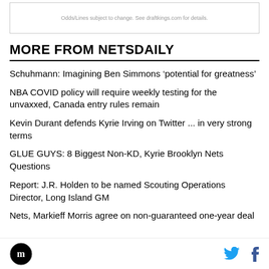Odds/Lines subject to change. See draftkings.com for details.
MORE FROM NETSDAILY
Schuhmann: Imagining Ben Simmons ‘potential for greatness’
NBA COVID policy will require weekly testing for the unvaxxed, Canada entry rules remain
Kevin Durant defends Kyrie Irving on Twitter ... in very strong terms
GLUE GUYS: 8 Biggest Non-KD, Kyrie Brooklyn Nets Questions
Report: J.R. Holden to be named Scouting Operations Director, Long Island GM
Nets, Markieff Morris agree on non-guaranteed one-year deal